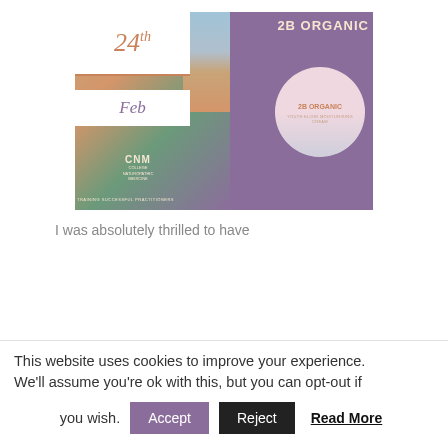[Figure (photo): Composite image showing a speaker at a podium with CNM (College of Naturopathic Medicine) branding on the left, a date overlay showing '24th Feb' in white boxes, and a purple panel on the right featuring '2B ORGANIC' text and a circular product image of '2B ORGANIC Youth Elixir Moisturising Cream'.]
I was absolutely thrilled to have
This website uses cookies to improve your experience. We'll assume you're ok with this, but you can opt-out if you wish.
Accept
Reject
Read More